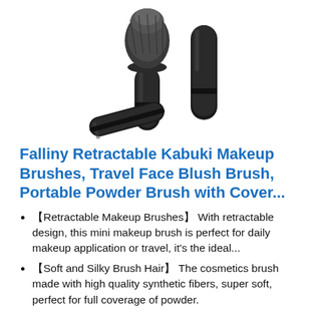[Figure (photo): Product photo showing two retractable kabuki makeup brushes and one cylindrical cap/case, all in black, on a white background.]
Falliny Retractable Kabuki Makeup Brushes, Travel Face Blush Brush, Portable Powder Brush with Cover...
【Retractable Makeup Brushes】 With retractable design, this mini makeup brush is perfect for daily makeup application or travel, it's the ideal...
【Soft and Silky Brush Hair】 The cosmetics brush made with high quality synthetic fibers, super soft, perfect for full coverage of powder.